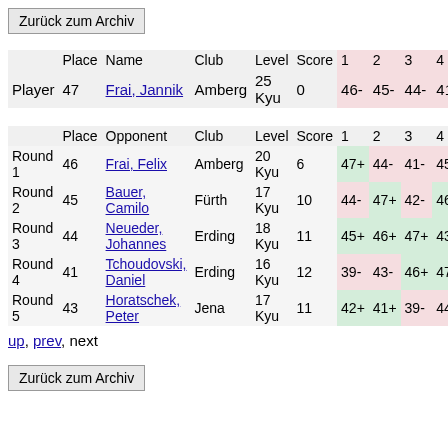Zurück zum Archiv
|  | Place | Name | Club | Level | Score | 1 | 2 | 3 | 4 | 5 |
| --- | --- | --- | --- | --- | --- | --- | --- | --- | --- | --- |
| Player | 47 | Frai, Jannik | Amberg | 25 Kyu | 0 | 46- | 45- | 44- | 41- | 4 |
|  |  |  |  |  |  |  |  |  |  |  |
|  | Place | Opponent | Club | Level | Score | 1 | 2 | 3 | 4 | 5 |
| Round 1 | 46 | Frai, Felix | Amberg | 20 Kyu | 6 | 47+ | 44- | 41- | 45- | 4 |
| Round 2 | 45 | Bauer, Camilo | Fürth | 17 Kyu | 10 | 44- | 47+ | 42- | 46+ | 4 |
| Round 3 | 44 | Neueder, Johannes | Erding | 18 Kyu | 11 | 45+ | 46+ | 47+ | 43+ | 3 |
| Round 4 | 41 | Tchoudovski, Daniel | Erding | 16 Kyu | 12 | 39- | 43- | 46+ | 47+ | 4 |
| Round 5 | 43 | Horatschek, Peter | Jena | 17 Kyu | 11 | 42+ | 41+ | 39- | 44- | 4 |
up, prev, next
Zurück zum Archiv